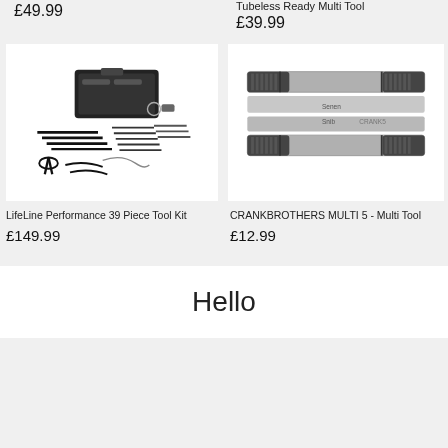£49.99
Tubeless Ready Multi Tool
£39.99
[Figure (photo): LifeLine Performance 39 Piece Tool Kit — spread of bicycle tools including wrenches, hex keys, screwdrivers, pliers, tire levers, and a black tool box]
LifeLine Performance 39 Piece Tool Kit
£149.99
[Figure (photo): CRANKBROTHERS MULTI 5 Multi Tool — close-up of a silver multi-tool with knurled black grip handles and multiple tool blades fanned out]
CRANKBROTHERS MULTI 5 - Multi Tool
£12.99
Hello